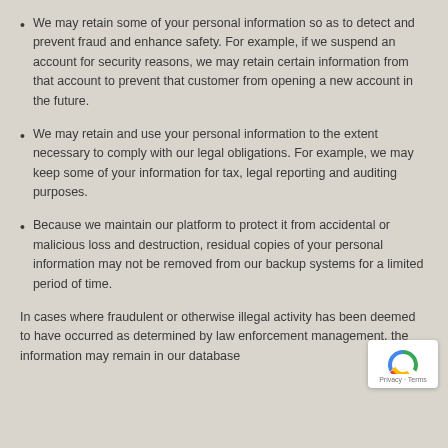We may retain some of your personal information so as to detect and prevent fraud and enhance safety. For example, if we suspend an account for security reasons, we may retain certain information from that account to prevent that customer from opening a new account in the future.
We may retain and use your personal information to the extent necessary to comply with our legal obligations. For example, we may keep some of your information for tax, legal reporting and auditing purposes.
Because we maintain our platform to protect it from accidental or malicious loss and destruction, residual copies of your personal information may not be removed from our backup systems for a limited period of time.
In cases where fraudulent or otherwise illegal activity has been deemed to have occurred as determined by law enforcement management, the information may remain in our database